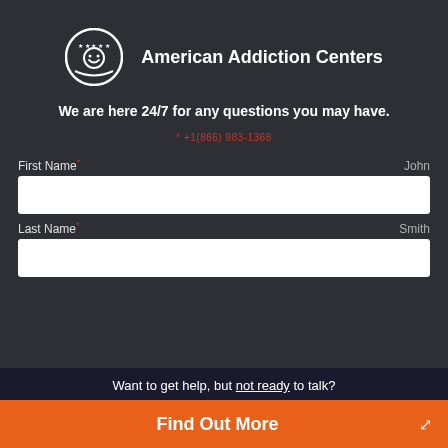[Figure (logo): American Addiction Centers logo: circular emblem with stars and smile face, with text 'American Addiction Centers' to the right]
We are here 24/7 for any questions you may have.
* +1(866) 983-1368
First Name * John
Last Name * Smith
Want to get help, but not ready to talk?
Find Out More